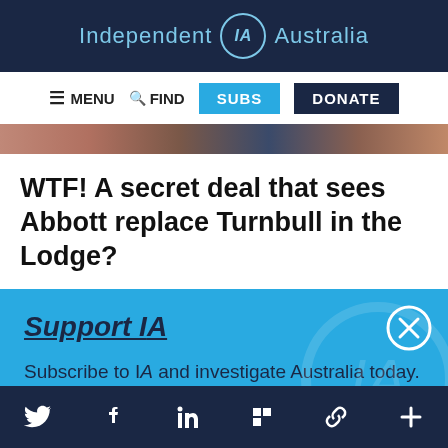Independent IA Australia
[Figure (screenshot): Navigation bar with MENU, FIND, SUBS, and DONATE buttons]
[Figure (photo): Cropped image strip showing partial face photos]
WTF! A secret deal that sees Abbott replace Turnbull in the Lodge?
Support IA
Subscribe to IA and investigate Australia today.
[Figure (infographic): Blue support panel with Close, Subscribe, and Donate buttons and close X button]
Social media icons: Twitter, Facebook, LinkedIn, Flipboard, chain link, plus